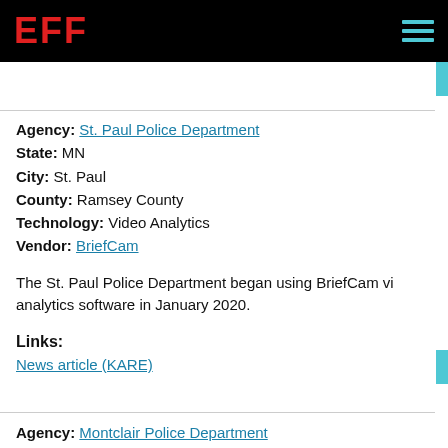EFF
Agency: St. Paul Police Department
State: MN
City: St. Paul
County: Ramsey County
Technology: Video Analytics
Vendor: BriefCam
The St. Paul Police Department began using BriefCam video analytics software in January 2020.
Links:
News article (KARE)
Agency: Montclair Police Department